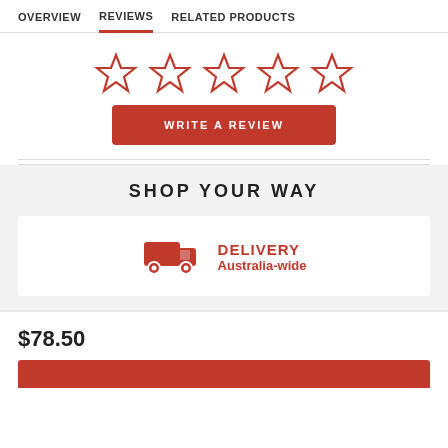OVERVIEW  REVIEWS  RELATED PRODUCTS
[Figure (other): Five empty red outline star icons for rating]
WRITE A REVIEW
SHOP YOUR WAY
[Figure (illustration): Red delivery truck icon]
DELIVERY
Australia-wide
$78.50